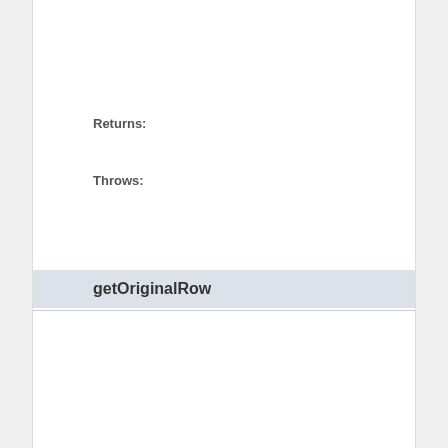Returns:
Throws:
getOriginalRow